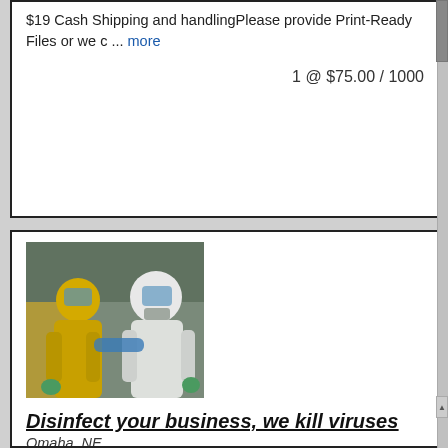$19 Cash Shipping and handlingPlease provide Print-Ready Files or we c ... more
1 @ $75.00 / 1000
[Figure (photo): Two people in white hazmat suits and face masks working together, one appears to be using a device on the other's arm]
Disinfect your business, we kill viruses
Omaha, NE
Disinfect your business we kill viruses up to 30 days. Omaha and Metro areas 20 cents per sq ft Example 1000 sq ft is $199 ITEX. Sliding Scale pricing 1000sq. Ft .20 · The 2nd 2000 .12 · ... more
10 @ $199.00